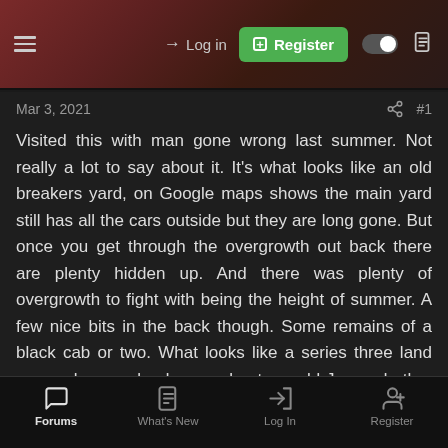Log in | Register
Mar 3, 2021 #1
Visited this with man gone wrong last summer. Not really a lot to say about it. It's what looks like an old breakers yard, on Google maps shows the main yard still has all the cars outside but they are long gone. But once you get through the overgrowth out back there are plenty hidden up. And there was plenty of overgrowth to fight with being the height of summer. A few nice bits in the back though. Some remains of a black cab or two. What looks like a series three land rover, always a land rover about, an old Jag and other various stuff. An old house sits on site but it's just a stripped shell. I don't think this place will be around long, it maybe gone already as lots of development around it. A new road as been put in and some
Forums | What's New | Log In | Register